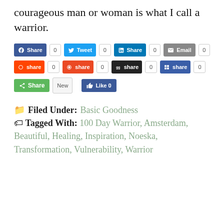courageous man or woman is what I call a warrior.
[Figure (screenshot): Social sharing buttons row 1: Facebook Share (0), Twitter Tweet (0), LinkedIn Share (0), Email (0)]
[Figure (screenshot): Social sharing buttons row 2: Reddit share (0), StumbleUpon share (0), Mixx share (0), FriendFeed share (0)]
[Figure (screenshot): Social sharing buttons row 3: ShareThis Share / New, Facebook Like (0)]
Filed Under: Basic Goodness
Tagged With: 100 Day Warrior, Amsterdam, Beautiful, Healing, Inspiration, Noeska, Transformation, Vulnerability, Warrior